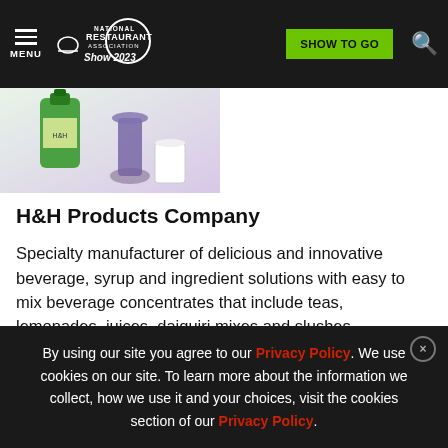MENU | National Restaurant Association Show 2023 | SHOW TO GO
[Figure (photo): Product photo showing green and purple beverage bottles/drinks]
H&H Products Company
Specialty manufacturer of delicious and innovative beverage, syrup and ingredient solutions with easy to mix beverage concentrates that include teas, lemonades, juices, daiquiri mixes and slushes.
Learn More
English
By using our site you agree to our Privacy Policy. We use cookies on our site. To learn more about the information we collect, how we use it and your choices, visit the cookies section of our Privacy Policy.